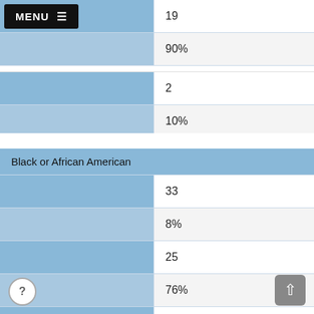|  | Value |
| --- | --- |
|  | 19 |
|  | 90% |
|  | 2 |
|  | 10% |
| Black or African American |  |
| --- | --- |
|  | 33 |
|  | 8% |
|  | 25 |
|  | 76% |
|  | 8 |
|  | 24% |